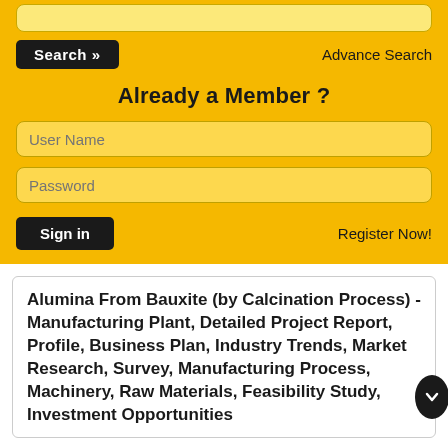[Figure (screenshot): Search input field (top, partially visible)]
Search »   Advance Search
Already a Member ?
User Name
Password
Sign in   Register Now!
Alumina From Bauxite (by Calcination Process) - Manufacturing Plant, Detailed Project Report, Profile, Business Plan, Industry Trends, Market Research, Survey, Manufacturing Process, Machinery, Raw Materials, Feasibility Study, Investment Opportunities